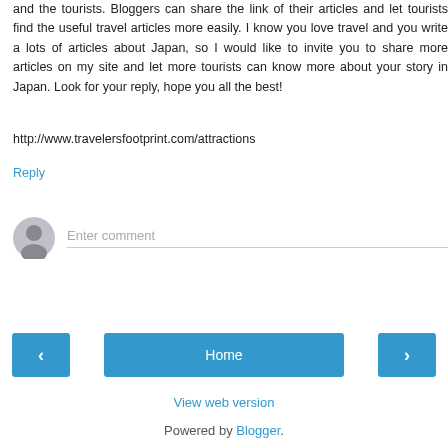and the tourists. Bloggers can share the link of their articles and let tourists find the useful travel articles more easily. I know you love travel and you write a lots of articles about Japan, so I would like to invite you to share more articles on my site and let more tourists can know more about your story in Japan. Look for your reply, hope you all the best!
http://www.travelersfootprint.com/attractions
Reply
Enter comment
‹
Home
›
View web version
Powered by Blogger.